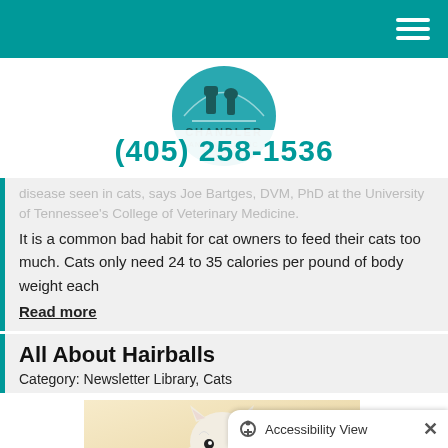Chandler Animal Clinic LLC - (405) 258-1536
[Figure (logo): Chandler Animal Clinic LLC logo with teal circular badge showing farm animals silhouette and clinic name below]
disease seen in cats, says Joe Bartges, DVM, PhD at the University of Tennessee's College of Veterinary Medicine.
It is a common bad habit for cat owners to feed their cats too much. Cats only need 24 to 35 calories per pound of body weight each
Read more
All About Hairballs
Category: Newsletter Library, Cats
[Figure (photo): White fluffy cat looking upward against a warm beige background]
Accessibility View